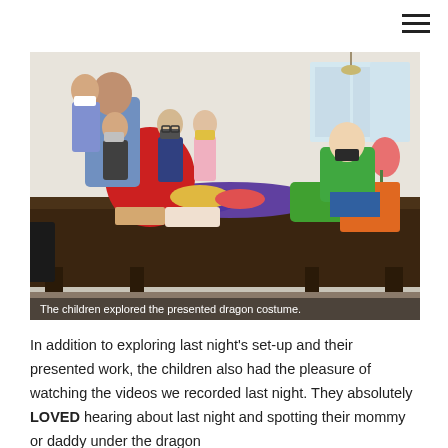[Figure (photo): Children wearing masks gathered around a large wooden table, exploring a dragon costume with colorful fabric pieces spread across the table. An adult assists them in a bright room.]
The children explored the presented dragon costume.
In addition to exploring last night's set-up and their presented work, the children also had the pleasure of watching the videos we recorded last night. They absolutely LOVED hearing about last night and spotting their mommy or daddy under the dragon